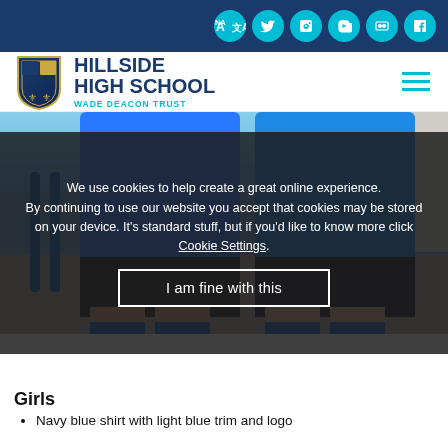Social media icons: translate, twitter, facebook, youtube, flickr, linkedin
[Figure (logo): Hillside High School logo with shield crest and text HILLSIDE HIGH SCHOOL / WADE DEACON TRUST]
[Figure (photo): Two students in school PE kit — blue long-sleeve shirts, dark pinstripe shorts, blue socks — standing outside in front of blue railings]
We use cookies to help create a great online experience. By continuing to use our website you accept that cookies may be stored on your device. It's standard stuff, but if you'd like to know more click Cookie Settings.
I am fine with this
Girls
Navy blue shirt with light blue trim and logo